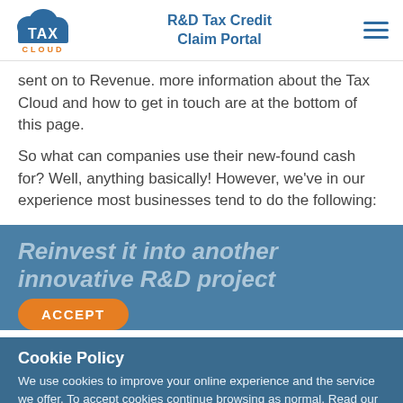R&D Tax Credit Claim Portal
sent on to Revenue. More information about the Tax Cloud and how to get in touch are at the bottom of this page.
So what can companies use their new-found cash for? Well, anything basically! However, we've in our experience most businesses tend to do the following:
Reinvest it into another innovative R&D project
Cookie Policy
We use cookies to improve your online experience and the service we offer. To accept cookies continue browsing as normal. Read our cookies policy for more information.
Once a discount/credit has been applied, we've found many organisations then decide to begin a new one. Some will again claim for more...